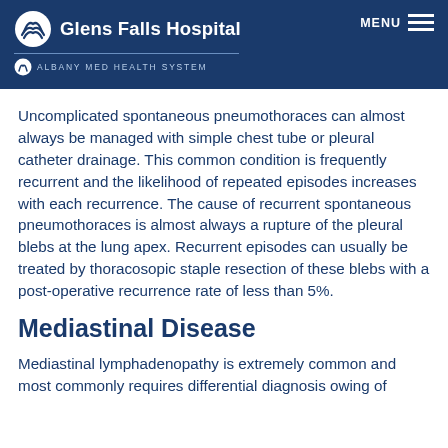Glens Falls Hospital | ALBANY MED Health System | MENU
Uncomplicated spontaneous pneumothoraces can almost always be managed with simple chest tube or pleural catheter drainage. This common condition is frequently recurrent and the likelihood of repeated episodes increases with each recurrence. The cause of recurrent spontaneous pneumothoraces is almost always a rupture of the pleural blebs at the lung apex. Recurrent episodes can usually be treated by thoracosopic staple resection of these blebs with a post-operative recurrence rate of less than 5%.
Mediastinal Disease
Mediastinal lymphadenopathy is extremely common and most commonly requires differential diagnosis owing of